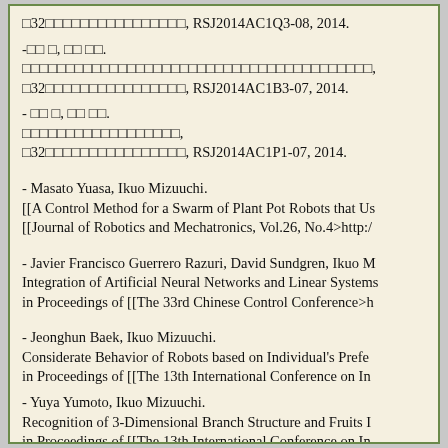□32□□□□□□□□□□□□□□□□, RSJ2014AC1Q3-08, 2014.
-□□ □, □□ □□.
□□□□□□□□□□□□□□□□□□□□□□□□□□□□□□□□□□□□□□□□□□,
□32□□□□□□□□□□□□□□□□, RSJ2014AC1B3-07, 2014.
- □□ □, □□ □□.
□□□□□□□□□□□□□□□□□□,
□32□□□□□□□□□□□□□□□□, RSJ2014AC1P1-07, 2014.
- Masato Yuasa, Ikuo Mizuuchi.
[[A Control Method for a Swarm of Plant Pot Robots that Us
[[Journal of Robotics and Mechatronics, Vol.26, No.4>http:/
- Javier Francisco Guerrero Razuri, David Sundgren, Ikuo M
Integration of Artificial Neural Networks and Linear Systems
in Proceedings of [[The 33rd Chinese Control Conference>h
- Jeonghun Baek, Ikuo Mizuuchi.
Considerate Behavior of Robots based on Individual's Prefe
in Proceedings of [[The 13th International Conference on In
- Yuya Yumoto, Ikuo Mizuuchi.
Recognition of 3-Dimensional Branch Structure and Fruits I
in Proceedings of [[The 13th International Conference on In
- Toma Morisawa, Ikuo Mizuuchi.
Diversive Curiosity in Robots and Action Selection Method f